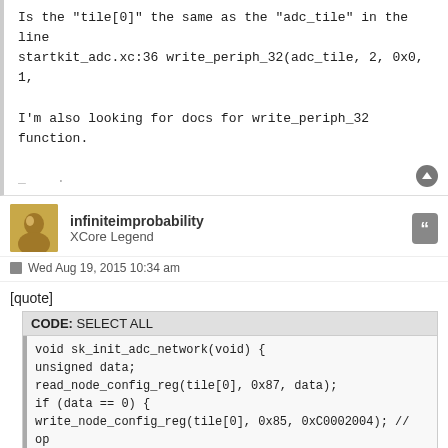Is the "tile[0]" the same as the "adc_tile" in the line startkit_adc.xc:36 write_periph_32(adc_tile, 2, 0x0, 1,

I'm also looking for docs for write_periph_32 function.
infiniteimprobability
XCore Legend
Wed Aug 19, 2015 10:34 am
[quote]
CODE: SELECT ALL
void sk_init_adc_network(void) {
unsigned data;
read_node_config_reg(tile[0], 0x87, data);
if (data == 0) {
write_node_config_reg(tile[0], 0x85, 0xC0002004); // op
write_node_config_reg(tile[0], 0x85, 0xC1002004); // an
Is the "tile[0]" the same as the "adc_tile" in the line startkit_adc.xc:36 write_periph_32(adc_tile, 2, 0x0, 1,
No - the code at the top (write_node_config) is setting
The write_periph_32(adc_tile... actually writes the rem